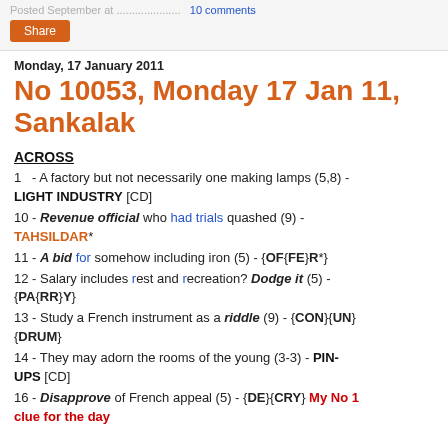Posted September at ... 10 comments
Share
Monday, 17 January 2011
No 10053, Monday 17 Jan 11, Sankalak
ACROSS
1 - A factory but not necessarily one making lamps (5,8) - LIGHT INDUSTRY [CD]
10 - Revenue official who had trials quashed (9) - TAHSILDAR*
11 - A bid for somehow including iron (5) - {OF{FE}R*}
12 - Salary includes rest and recreation? Dodge it (5) - {PA{RR}Y}
13 - Study a French instrument as a riddle (9) - {CON}{UN}{DRUM}
14 - They may adorn the rooms of the young (3-3) - PIN-UPS [CD]
16 - Disapprove of French appeal (5) - {DE}{CRY} My No 1 clue for the day